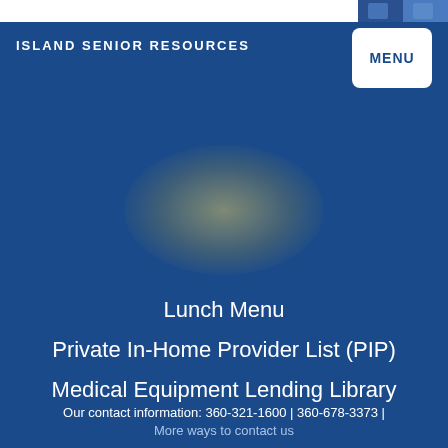ISLAND SENIOR RESOURCES
[Figure (screenshot): Photo thumbnail in top right corner]
[Figure (illustration): Glowing orb / light effect in center of blue background]
Lunch Menu
Private In-Home Provider List (PIP)
Medical Equipment Lending Library
Our contact information: 360-321-1600 | 360-678-3373 | More ways to contact us